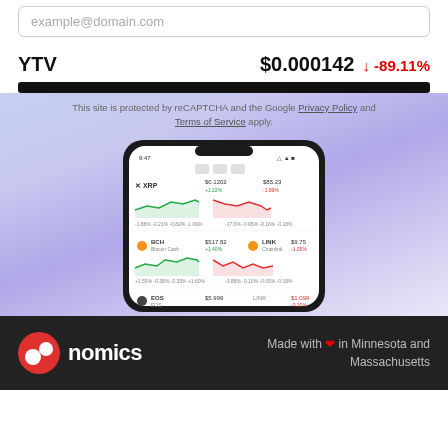example@domain.com
YTV   $0.000142  ↓ -89.11%
This site is protected by reCAPTCHA and the Google Privacy Policy and Terms of Service apply.
[Figure (screenshot): A smartphone showing a cryptocurrency trading app with multiple coin charts including XRP, BCH, EOS, LINK displayed with green and red line charts.]
nomics   Made with ❤ in Minnesota and Massachusetts